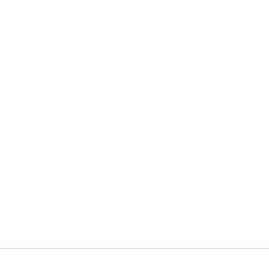Genera
If you encoun problem has n
Working
Cells treated w exchange and BioOptics Fac please get in t
print
Sitemap | Imprint / Impressum